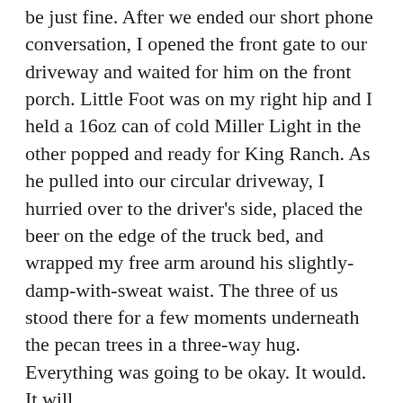be just fine. After we ended our short phone conversation, I opened the front gate to our driveway and waited for him on the front porch. Little Foot was on my right hip and I held a 16oz can of cold Miller Light in the other popped and ready for King Ranch. As he pulled into our circular driveway, I hurried over to the driver's side, placed the beer on the edge of the truck bed, and wrapped my free arm around his slightly-damp-with-sweat waist. The three of us stood there for a few moments underneath the pecan trees in a three-way hug. Everything was going to be okay. It would. It will.
I think of what I might be saying next year and realize there's no way I could possibly know. This time last year, we didn't know King Ranch's new job. We didn't know Bunny or Tyrion. We didn't know what Little Foot's voice sounded like. We didn't know what